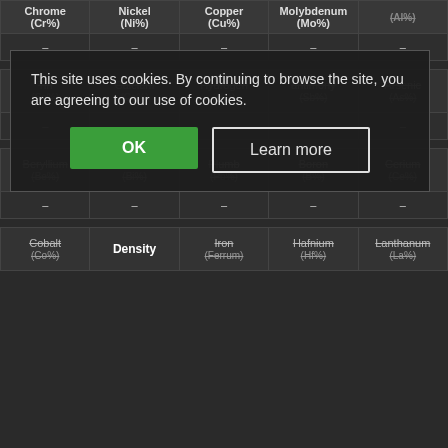| Chrome (Cr%) | Nickel (Ni%) | Copper (Cu%) | Molybdenum (Mo%) | Al (Al%) |
| --- | --- | --- | --- | --- |
| – | – | – | – | – |
| Tin (Sn%) | Calcium (Ca%) | Hydrogen (H%) | antimony (Sb%) | Arsenic (As%) |
| – | – | – | – | – |
| Beryllium (Be%) | Bismuth (Bi%) | Plumb (Pb%) | Boron (B%) | Cerium (Ce%) |
| – | – | – | – | – |
| Cobalt (Co%) | Density | Iron (Ferrum) | Hafnium (Hf%) | Lanthanum (La%) |
This site uses cookies. By continuing to browse the site, you are agreeing to our use of cookies.
OK
Learn more